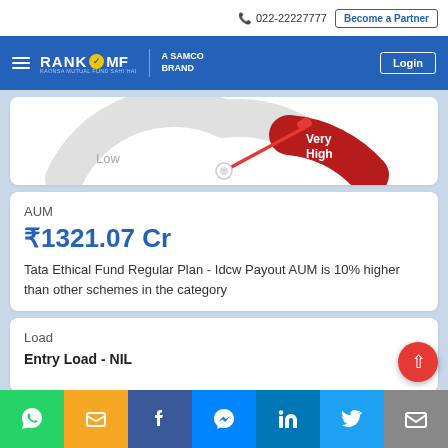022-22227777 | Become a Partner
[Figure (logo): RankMF - A Samco Brand logo with hamburger menu and Login button on blue navigation bar]
[Figure (other): Risk meter gauge showing needle pointing to Very High risk zone (red section), with Low label on left side]
AUM
₹1321.07 Cr
Tata Ethical Fund Regular Plan - Idcw Payout AUM is 10% higher than other schemes in the category
Load
Entry Load - NIL
WhatsApp | SMS | Facebook | Messenger | LinkedIn | Twitter | Email